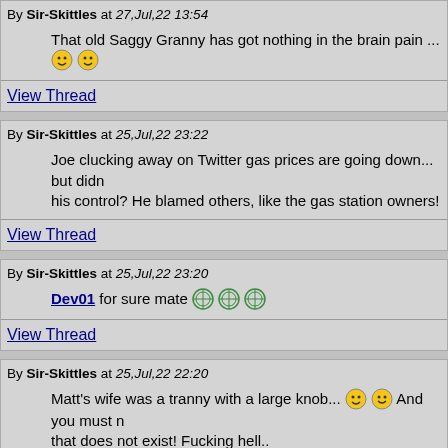By Sir-Skittles at 27,Jul,22 13:54
That old Saggy Granny has got nothing in the brain pain ...
View Thread
By Sir-Skittles at 25,Jul,22 23:22
Joe clucking away on Twitter gas prices are going down... but didn his control? He blamed others, like the gas station owners!
View Thread
By Sir-Skittles at 25,Jul,22 23:20
Dev01 for sure mate
View Thread
By Sir-Skittles at 25,Jul,22 22:20
Matt's wife was a tranny with a large knob... And you must n that does not exist! Fucking hell..